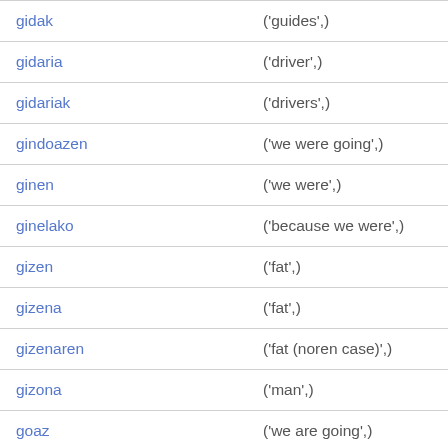| gidak | ('guides',) |
| gidaria | ('driver',) |
| gidariak | ('drivers',) |
| gindoazen | ('we were going',) |
| ginen | ('we were',) |
| ginelako | ('because we were',) |
| gizen | ('fat',) |
| gizena | ('fat',) |
| gizenaren | ('fat (noren case)',) |
| gizona | ('man',) |
| goaz | ('we are going',) |